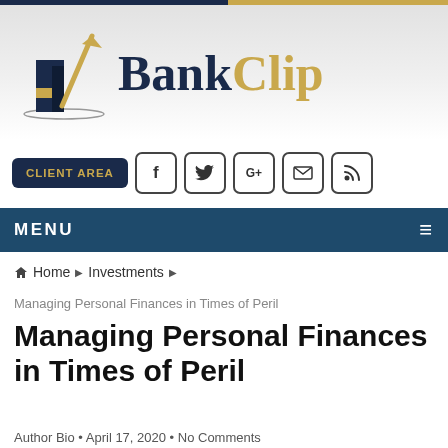[Figure (logo): BankClip logo with dark navy building/chart icon and gold arrow, text BANK in navy and CLIP in gold]
CLIENT AREA | Social icons: Facebook, Twitter, Google+, Email, RSS
MENU
Home ▶ Investments ▶
Managing Personal Finances in Times of Peril
Managing Personal Finances in Times of Peril
Author Bio • April 17, 2020 • No Comments